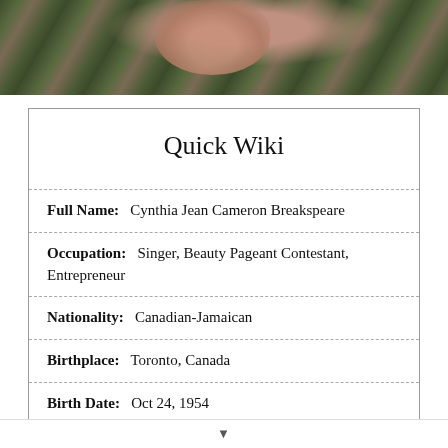[Figure (photo): Cropped photo showing a person wearing camouflage clothing, only the lower face and upper body visible.]
Quick Wiki
| Full Name: | Cynthia Jean Cameron Breakspeare |
| Occupation: | Singer, Beauty Pageant Contestant, Entrepreneur |
| Nationality: | Canadian-Jamaican |
| Birthplace: | Toronto, Canada |
| Birth Date: | Oct 24, 1954 |
| Age: | 67 Years, 9 Months |